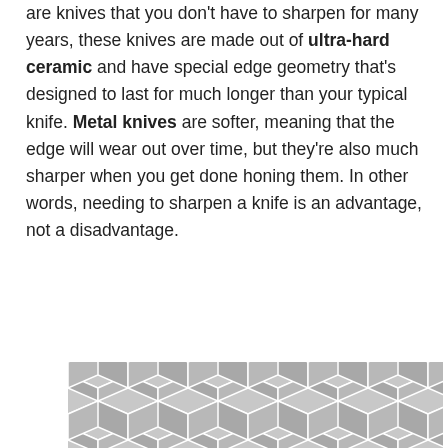are knives that you don't have to sharpen for many years, these knives are made out of ultra-hard ceramic and have special edge geometry that's designed to last for much longer than your typical knife. Metal knives are softer, meaning that the edge will wear out over time, but they're also much sharper when you get done honing them. In other words, needing to sharpen a knife is an advantage, not a disadvantage.
[Figure (illustration): A decorative geometric pattern made of interlocking cube/hexagon shapes in gray and white, appearing as a repeating 3D cube tessellation.]